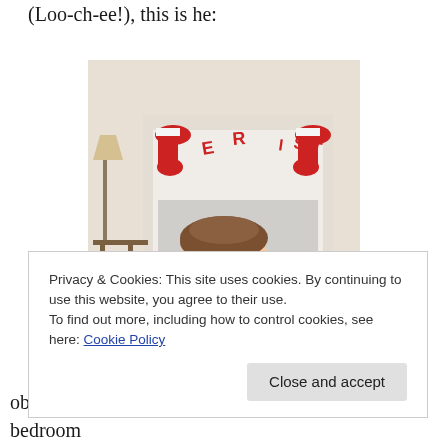(Loo-ch-ee!), this is he:
[Figure (photo): A young boy wearing a yellow long-sleeve dinosaur shirt ('HAS ANYONE SEEN MY END...') sitting in front of a fireplace decorated with Christmas stockings and a banner.]
Privacy & Cookies: This site uses cookies. By continuing to use this website, you agree to their use.
To find out more, including how to control cookies, see here: Cookie Policy
obsessed with Space and is responsible for their bedroom